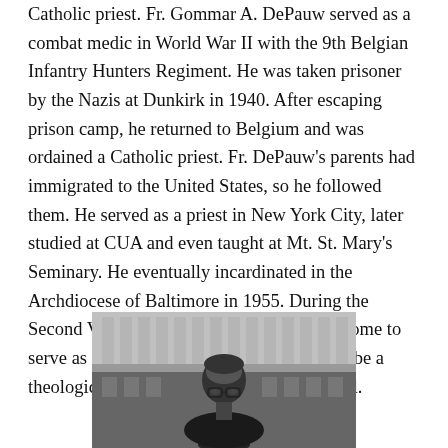Catholic priest. Fr. Gommar A. DePauw served as a combat medic in World War II with the 9th Belgian Infantry Hunters Regiment. He was taken prisoner by the Nazis at Dunkirk in 1940. After escaping prison camp, he returned to Belgium and was ordained a Catholic priest. Fr. DePauw's parents had immigrated to the United States, so he followed them. He served as a priest in New York City, later studied at CUA and even taught at Mt. St. Mary's Seminary. He eventually incardinated in the Archdiocese of Baltimore in 1955. During the Second Vatican Council, he was called to Rome to serve as a peritus, meaning he was asked to be a theological advisor to bishops at the Council.
[Figure (photo): Black and white photograph of a man wearing glasses and clerical attire, standing in front of a large building with columns.]